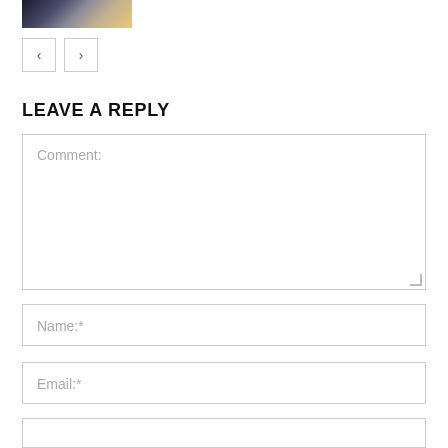[Figure (photo): Partial photo strip at top showing a person, partially cropped]
[Figure (other): Navigation buttons with left and right arrows]
LEAVE A REPLY
Comment:
Name:*
Email:*